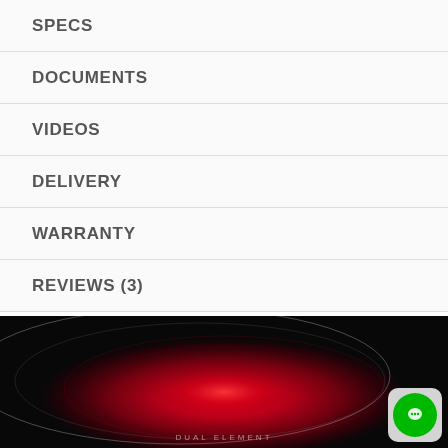SPECS
DOCUMENTS
VIDEOS
DELIVERY
WARRANTY
REVIEWS (3)
[Figure (photo): Close-up photo of a glowing red circular heating element labeled DUAL ELEMENT on a dark background with concentric elliptical reflection lines. A chat button with a green circle is visible in the bottom right corner.]